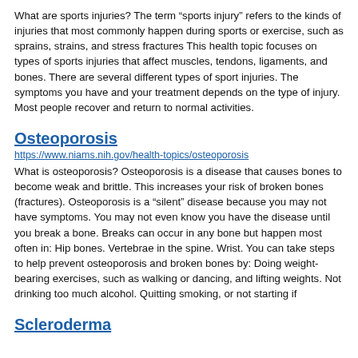What are sports injuries? The term “sports injury” refers to the kinds of injuries that most commonly happen during sports or exercise, such as sprains, strains, and stress fractures This health topic focuses on types of sports injuries that affect muscles, tendons, ligaments, and bones. There are several different types of sport injuries. The symptoms you have and your treatment depends on the type of injury. Most people recover and return to normal activities.
Osteoporosis
https://www.niams.nih.gov/health-topics/osteoporosis
What is osteoporosis? Osteoporosis is a disease that causes bones to become weak and brittle. This increases your risk of broken bones (fractures). Osteoporosis is a “silent” disease because you may not have symptoms. You may not even know you have the disease until you break a bone. Breaks can occur in any bone but happen most often in: Hip bones. Vertebrae in the spine. Wrist. You can take steps to help prevent osteoporosis and broken bones by: Doing weight-bearing exercises, such as walking or dancing, and lifting weights. Not drinking too much alcohol. Quitting smoking, or not starting if
Scleroderma